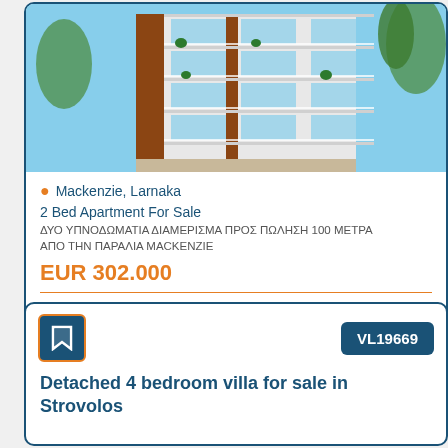[Figure (photo): Photo of a modern multi-storey residential apartment building with white balconies and terracotta accents, blue sky background with palm trees]
Mackenzie, Larnaka
2 Bed Apartment For Sale
ΔΥΟ ΥΠΝΟΔΩΜΑΤΙΑ ΔΙΑΜΕΡΙΣΜΑ ΠΡΟΣ ΠΩΛΗΣΗ 100 ΜΕΤΡΑ ΑΠΟ ΤΗΝ ΠΑΡΑΛΙΑ MACKENZIE
EUR 302.000
For internal use only: 50CHPI
[Figure (other): Bookmark icon button with orange border on dark blue background]
VL19669
Detached 4 bedroom villa for sale in Strovolos